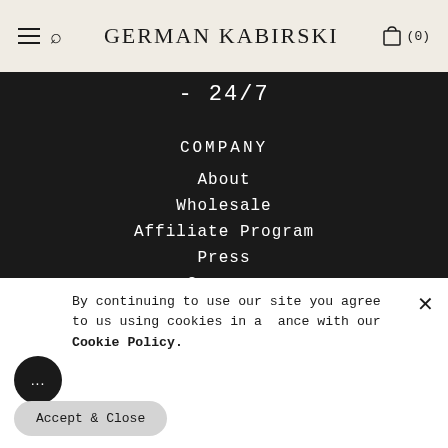GERMAN KABIRSKI
- 24/7
COMPANY
About
Wholesale
Affiliate Program
Press
Careers
Privacy Policy
By continuing to use our site you agree to us using cookies in accordance with our Cookie Policy.
Accept & Close